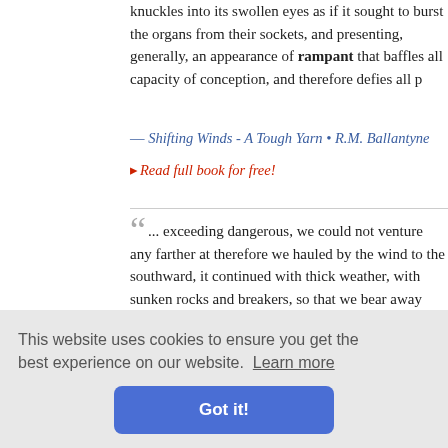knuckles into its swollen eyes as if it sought to burst the organs from their sockets, and presenting, generally, an appearance of rampant that baffles all capacity of conception, and therefore defies all p
— Shifting Winds - A Tough Yarn • R.M. Ballantyne
▸ Read full book for free!
" ... exceeding dangerous, we could not venture any farther at therefore we hauled by the wind to the southward, it continued with thick weather, with sunken rocks and breakers, so that we bear away before the wind into a large bay, the tide running ram great swell, every where surrounded with sunken rocks, that we but a miracle could save us: at last we got safe into the bay, an fathom water, we steered in east. At four this morning rowed ou islands, after we got out had a fresh breeze. "
Travels, Vo
notions, pu belongings are generally the consequence of the work of some There is probably no place in the world in which intrigue is so
This website uses cookies to ensure you get the best experience on our website. Learn more
Got it!